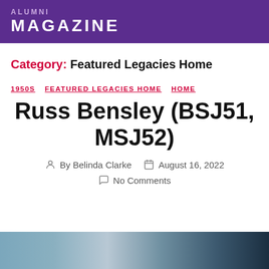ALUMNI MAGAZINE
Category: Featured Legacies Home
1950S  FEATURED LEGACIES HOME  HOME
Russ Bensley (BSJ51, MSJ52)
By Belinda Clarke   August 16, 2022
No Comments
[Figure (photo): Partial photo strip visible at the bottom of the page, showing an indoor or outdoor scene in muted blue and grey tones.]